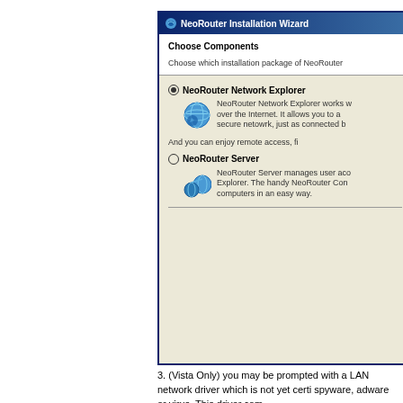[Figure (screenshot): NeoRouter Installation Wizard dialog showing 'Choose Components' screen with two radio button options: 'NeoRouter Network Explorer' (selected) and 'NeoRouter Server', each with an icon and descriptive text.]
3. (Vista Only) you may be prompted with a LAN network driver which is not yet certi... spyware, adware or virus. This driver com...